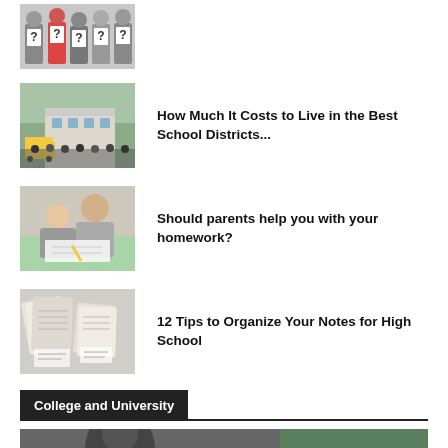[Figure (photo): Group of people holding question mark signs]
[Figure (photo): School buses and crowd outside school building]
How Much It Costs to Live in the Best School Districts...
[Figure (photo): Parent helping child with homework]
Should parents help you with your homework?
[Figure (photo): Notebooks and papers organized on a surface]
12 Tips to Organize Your Notes for High School
College and University
[Figure (photo): Partial image of person at chalkboard, college/university context]